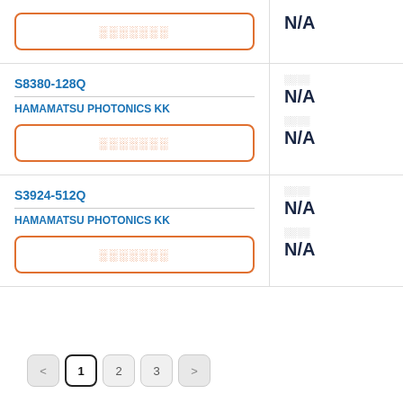| Product | Info |
| --- | --- |
| [button: ░░░░░░░] | N/A |
| S8380-128Q
HAMATSU PHOTONICS KK
[button: ░░░░░░░] | ░░░░
N/A
░░░░
N/A |
| S3924-512Q
HAMAMATSU PHOTONICS KK
[button: ░░░░░░░] | ░░░░
N/A
░░░░
N/A |
< 1 2 3 >